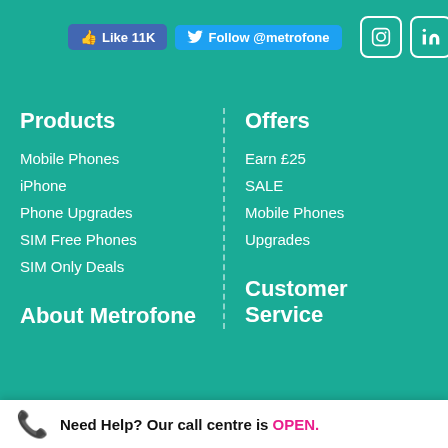[Figure (infographic): Social media buttons: Facebook Like 11K, Twitter Follow @metrofone, Instagram icon, LinkedIn icon, YouTube icon]
Products
Mobile Phones
iPhone
Phone Upgrades
SIM Free Phones
SIM Only Deals
Offers
Earn £25
SALE
Mobile Phones
Upgrades
About Metrofone
Customer Service
This website uses cookies to ensure you get the best experience on our website.
Learn more
Got It!
Need Help? Our call centre is OPEN.